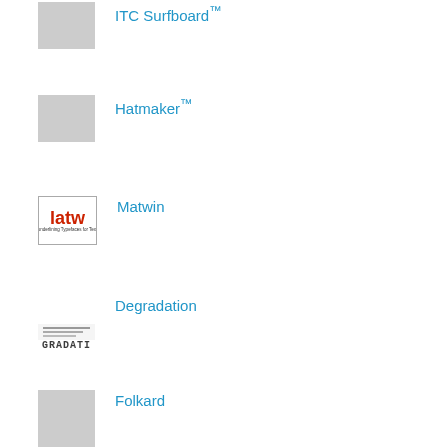[Figure (logo): Gray placeholder thumbnail for ITC Surfboard]
ITC Surfboard™
[Figure (logo): Gray placeholder thumbnail for Hatmaker]
Hatmaker™
[Figure (logo): Matwin logo: red cursive text 'latw' with tagline 'underlining Typefaces for Text']
Matwin
[Figure (logo): Degradation logo: horizontal lines above bold degraded typeface text 'GRADATI']
Degradation
[Figure (logo): Gray placeholder thumbnail for Folkard]
Folkard